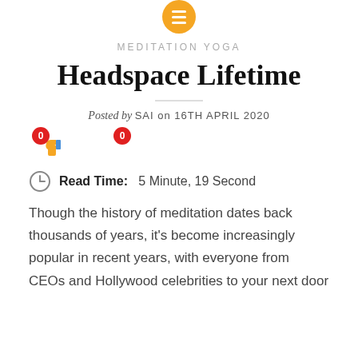[Figure (logo): Gold/orange circle with white hamburger menu icon (three horizontal bars)]
MEDITATION YOGA
Headspace Lifetime
Posted by SAI on 16TH APRIL 2020
[Figure (other): Vote buttons: red badge showing 0, thumbs down emoji, thumbs up emoji with red badge showing 0]
Read Time:  5 Minute, 19 Second
Though the history of meditation dates back thousands of years, it’s become increasingly popular in recent years, with everyone from CEOs and Hollywood celebrities to your next door neighbour and family members practising the